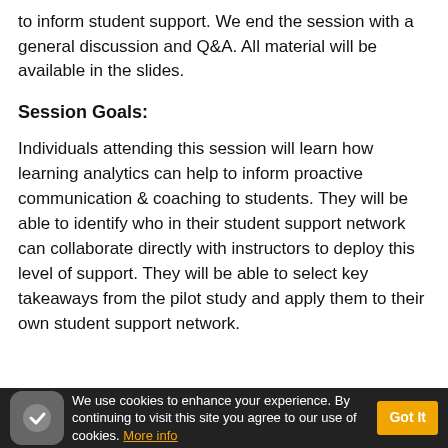to inform student support. We end the session with a general discussion and Q&A. All material will be available in the slides.
Session Goals:
Individuals attending this session will learn how learning analytics can help to inform proactive communication & coaching to students. They will be able to identify who in their student support network can collaborate directly with instructors to deploy this level of support. They will be able to select key takeaways from the pilot study and apply them to their own student support network.
We use cookies to enhance your experience. By continuing to visit this site you agree to our use of cookies. More info  Got It